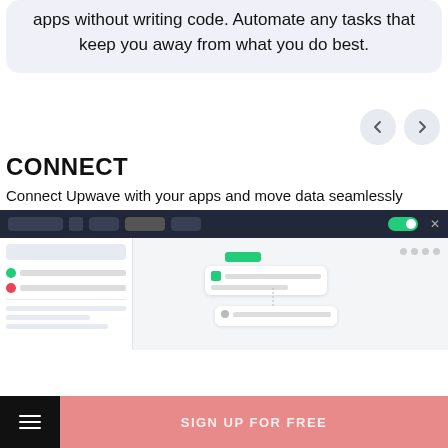apps without writing code. Automate any tasks that keep you away from what you do best.
[Figure (screenshot): Navigation arrows (previous/next) for a carousel]
CONNECT
Connect Upwave with your apps and move data seamlessly
[Figure (screenshot): Screenshot of the Upwave app integration interface showing a workflow editor with connected nodes]
SIGN UP FOR FREE